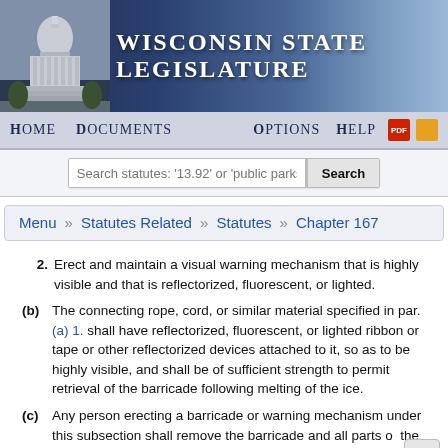Wisconsin State Legislature
[Figure (screenshot): Wisconsin State Legislature website header with capitol building image and navigation bar with Home, Documents, Options, Help links and search bar]
Menu » Statutes Related » Statutes » Chapter 167
2. Erect and maintain a visual warning mechanism that is highly visible and that is reflectorized, fluorescent, or lighted.
(b) The connecting rope, cord, or similar material specified in par. (a) 1. shall have reflectorized, fluorescent, or lighted ribbon or tape or other reflectorized devices attached to it, so as to be highly visible, and shall be of sufficient strength to permit retrieval of the barricade following melting of the ice.
(c) Any person erecting a barricade or warning mechanism under this subsection shall remove the barricade and all parts of the barricade or mechanism immediately after the ice ha